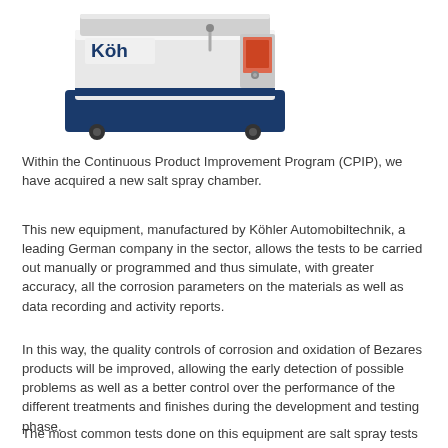[Figure (photo): A Köhler Automobiltechnik salt spray chamber — a white and dark-blue industrial machine on wheels with a control panel on the right side and the Köh logo visible on the top-left.]
Within the Continuous Product Improvement Program (CPIP), we have acquired a new salt spray chamber.
This new equipment, manufactured by Köhler Automobiltechnik, a leading German company in the sector, allows the tests to be carried out manually or programmed and thus simulate, with greater accuracy, all the corrosion parameters on the materials as well as data recording and activity reports.
In this way, the quality controls of corrosion and oxidation of Bezares products will be improved, allowing the early detection of possible problems as well as a better control over the performance of the different treatments and finishes during the development and testing phase.
The most common tests done on this equipment are salt spray tests according to DIN EN 50021, DIN EN ISO 9227...